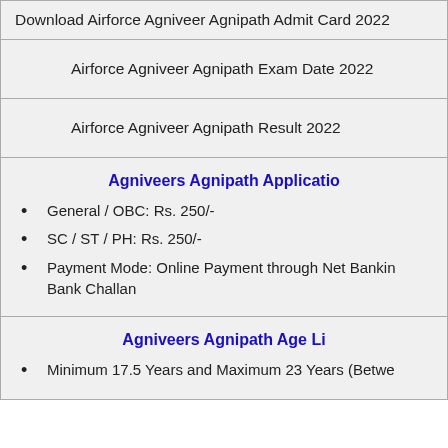| Download Airforce Agniveer Agnipath Admit Card 2022 |
| Airforce Agniveer Agnipath Exam Date 2022 |
| Airforce Agniveer Agnipath Result 2022 |
Agniveers Agnipath Application
General / OBC: Rs. 250/-
SC / ST / PH: Rs. 250/-
Payment Mode: Online Payment through Net Banking Bank Challan
Agniveers Agnipath Age Li
Minimum 17.5 Years and Maximum 23 Years (Betwe